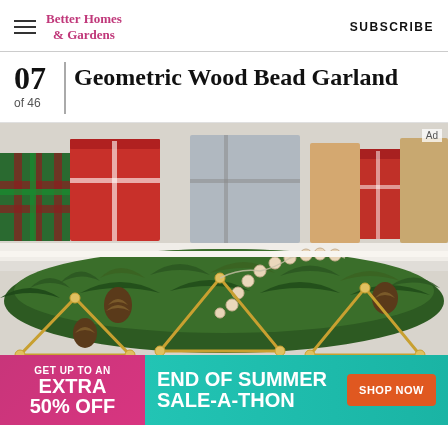Better Homes & Gardens | SUBSCRIBE
07 Geometric Wood Bead Garland
of 46
[Figure (photo): A mantel decorated with a geometric wood bead garland made of gold metal triangles and natural wooden beads, draped over pine garland with pinecones. Red wrapped gifts visible in the background on the mantel.]
Ad
[Figure (infographic): Advertisement banner: pink section reading 'GET UP TO AN EXTRA 50% OFF', teal section reading 'END OF SUMMER SALE-A-THON' with orange 'SHOP NOW' button.]